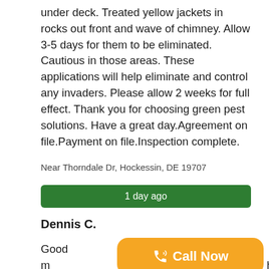under deck. Treated yellow jackets in rocks out front and wave of chimney. Allow 3-5 days for them to be eliminated. Cautious in those areas. These applications will help eliminate and control any invaders. Please allow 2 weeks for full effect. Thank you for choosing green pest solutions. Have a great day.Agreement on file.Payment on file.Inspection complete.
Near Thorndale Dr, Hockessin, DE 19707
1 day ago
Dennis C.
Good m... h. Today ... e. We discussed issues. Roaches main issues. Heavy
Call Now